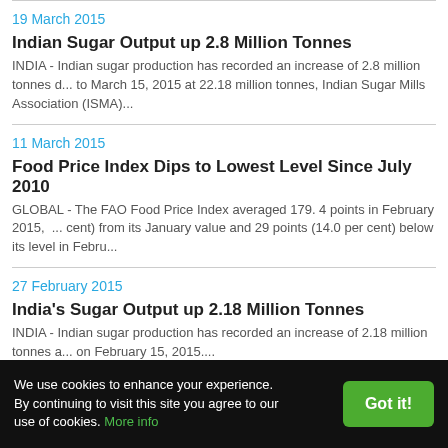19 March 2015
Indian Sugar Output up 2.8 Million Tonnes
INDIA - Indian sugar production has recorded an increase of 2.8 million tonnes d... to March 15, 2015 at 22.18 million tonnes, Indian Sugar Mills Association (ISMA)...
11 March 2015
Food Price Index Dips to Lowest Level Since July 2010
GLOBAL - The FAO Food Price Index averaged 179. 4 points in February 2015, ... cent) from its January value and 29 points (14.0 per cent) below its level in Febru...
27 February 2015
India's Sugar Output up 2.18 Million Tonnes
INDIA - Indian sugar production has recorded an increase of 2.18 million tonnes a... on February 15, 2015....
06 February 2015
Brazil Seeking More Agriculture Trade with China
We use cookies to enhance your experience. By continuing to visit this site you agree to our use of cookies. More info